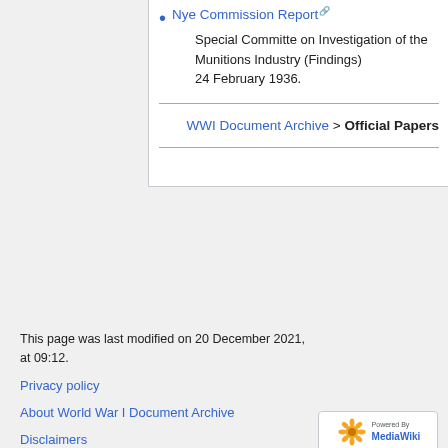Nye Commission Report — Special Committe on Investigation of the Munitions Industry (Findings) 24 February 1936.
WWI Document Archive > Official Papers
This page was last modified on 20 December 2021, at 09:12.
Privacy policy
About World War I Document Archive
Disclaimers
[Figure (logo): Powered by MediaWiki badge with sunflower logo]